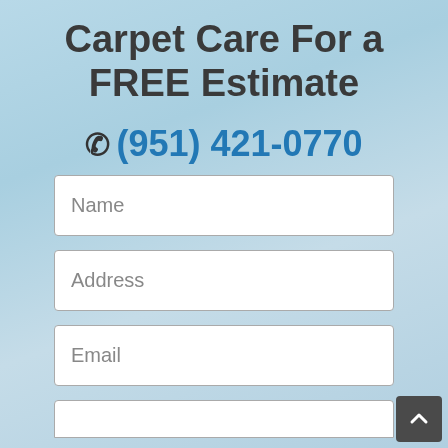Carpet Care For a FREE Estimate
☎ (951) 421-0770
Name
Address
Email